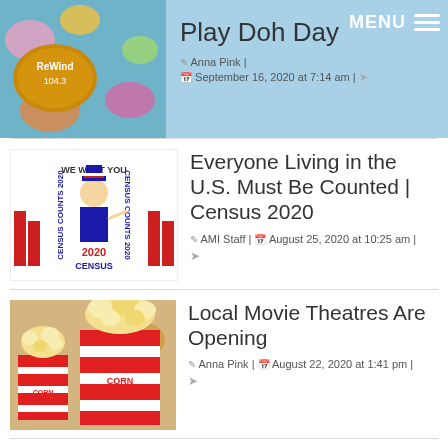[Figure (screenshot): Website header showing radio station ReWind 104.3 logo image on left, Play Doh Day article title, author Anna Pink, date September 16, 2020 at 7:14 am, and MENU hamburger button on right, all on a light blue background.]
Play Doh Day
Anna Pink | September 16, 2020 at 7:14 am |
[Figure (screenshot): Census 2020 promotional image with Uncle Sam 'WE WANT YOU' text and Census Counts 2020 branding with red and blue design elements.]
Everyone Living in the U.S. Must Be Counted | Census 2020
AMI Staff | August 25, 2020 at 10:25 am |
[Figure (photo): Photo of red and white striped popcorn boxes filled with popcorn, with 'POP CORN' printed on the buckets.]
Local Movie Theatres Are Opening
Anna Pink | August 22, 2020 at 1:41 pm |
[Figure (photo): Dark image with colorful lights, partially visible, for the Walmart article.]
Walmart Turning Parking Lots into Drive